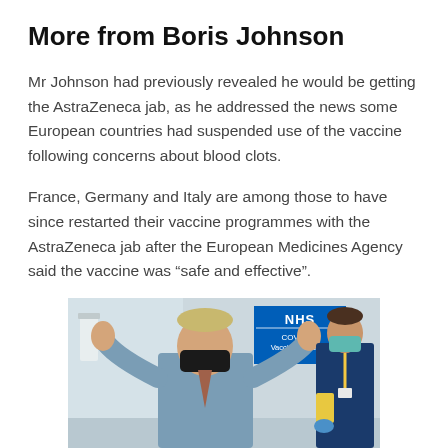More from Boris Johnson
Mr Johnson had previously revealed he would be getting the AstraZeneca jab, as he addressed the news some European countries had suspended use of the vaccine following concerns about blood clots.
France, Germany and Italy are among those to have since restarted their vaccine programmes with the AstraZeneca jab after the European Medicines Agency said the vaccine was “safe and effective”.
[Figure (photo): Boris Johnson giving thumbs up wearing a black face mask and blue shirt, standing in front of an NHS COVID-19 Vaccination Centre sign, with an NHS nurse standing behind him to the right.]